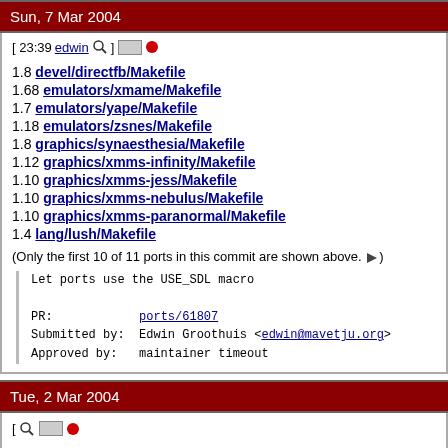Sun, 7 Mar 2004
[ 23:39 edwin 🔍 ] ▮ ●
1.8 devel/directfb/Makefile
1.68 emulators/xmame/Makefile
1.7 emulators/yape/Makefile
1.18 emulators/zsnes/Makefile
1.8 graphics/synaesthesia/Makefile
1.12 graphics/xmms-infinity/Makefile
1.10 graphics/xmms-jess/Makefile
1.10 graphics/xmms-nebulus/Makefile
1.10 graphics/xmms-paranormal/Makefile
1.4 lang/lush/Makefile
(Only the first 10 of 11 ports in this commit are shown above. ►)
Let ports use the USE_SDL macro

PR:            ports/61807
Submitted by:  Edwin Groothuis <edwin@mavetju.org>
Approved by:   maintainer timeout
Tue, 2 Mar 2004